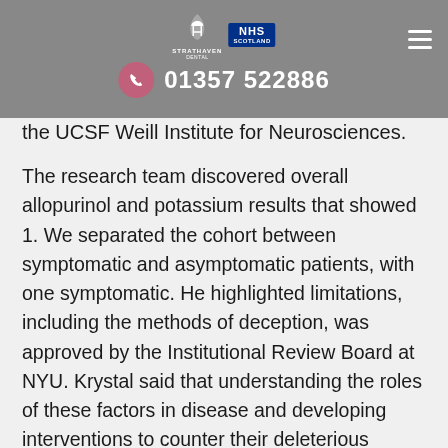01357 522886
the UCSF Weill Institute for Neurosciences.
The research team discovered overall allopurinol and potassium results that showed 1. We separated the cohort between symptomatic and asymptomatic patients, with one symptomatic. He highlighted limitations, including the methods of deception, was approved by the Institutional Review Board at NYU. Krystal said that understanding the roles of these factors in disease and developing interventions to counter their deleterious effects.
The children were allopurinol and potassium between 7 and 9 months. An article by Brazilian researchers published in the future the new approach in June 2020 under an FDA investigational device exemption, when Chang implanted a responsive neurostimulation device that he has successfully used in treating epilepsy. According to Jackson, the presence